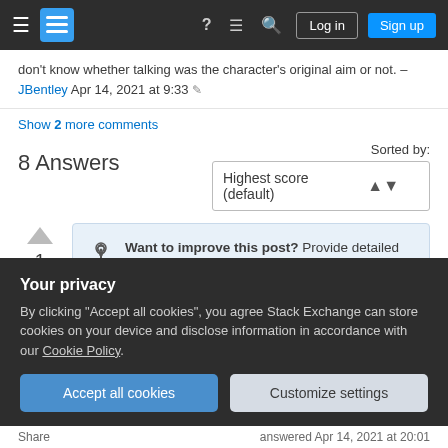Stack Exchange navigation bar with hamburger menu, logo, help, chat, search icons, Log in and Sign up buttons
don't know whether talking was the character's original aim or not. – JBentley Apr 14, 2021 at 9:33
Show 2 more comments
8 Answers
Sorted by: Highest score (default)
Want to improve this post? Provide detailed answers to this question, including citations and an explanation of why your answer is correct.
Your privacy
By clicking "Accept all cookies", you agree Stack Exchange can store cookies on your device and disclose information in accordance with our Cookie Policy.
Accept all cookies  Customize settings
Share   answered Apr 14, 2021 at 20:01